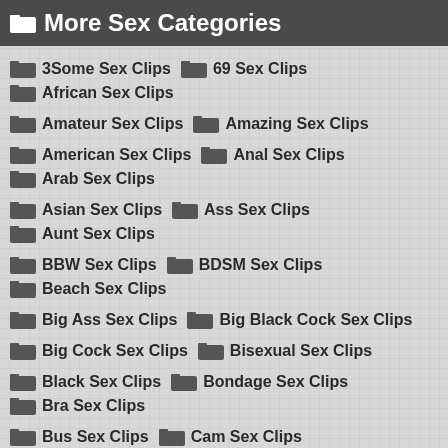More Sex Categories
3Some Sex Clips  69 Sex Clips  African Sex Clips
Amateur Sex Clips  Amazing Sex Clips
American Sex Clips  Anal Sex Clips  Arab Sex Clips
Asian Sex Clips  Ass Sex Clips  Aunt Sex Clips
BBW Sex Clips  BDSM Sex Clips  Beach Sex Clips
Big Ass Sex Clips  Big Black Cock Sex Clips
Big Cock Sex Clips  Bisexual Sex Clips
Black Sex Clips  Bondage Sex Clips  Bra Sex Clips
Bus Sex Clips  Cam Sex Clips  Cartoon Sex Clips
Casting Sex Clips  Celebrity Sex Clips